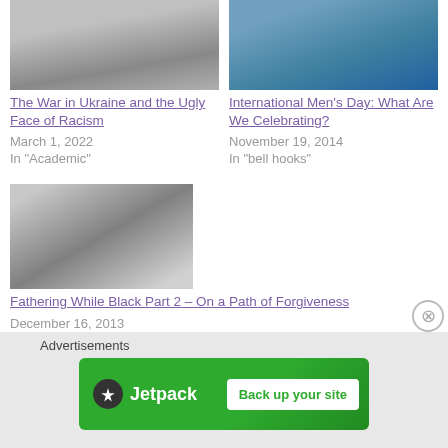[Figure (photo): Grayscale/color photo top left - cropped image of people (Ukraine war related)]
The War in Ukraine and the Ugly Face of Racism
March 1, 2022
In "Academic"
[Figure (photo): Color photo top right - people, International Men's Day related]
International Men's Day: What Are We Celebrating?
November 19, 2014
In "bell hooks"
[Figure (photo): Black and white photo of a person lying down with a child, fathering while black]
Fathering While Black Part 2 – On a Path of Forgiveness
December 16, 2013
In "Academic"
Advertisements
[Figure (screenshot): Jetpack advertisement banner with 'Back up your site' button]